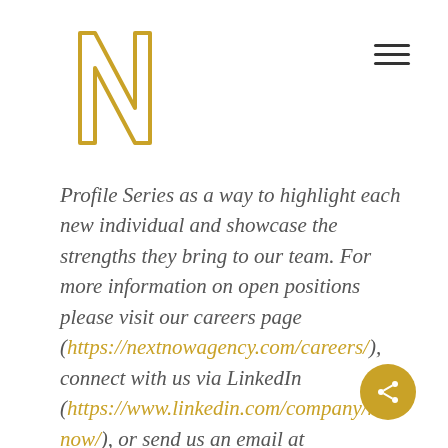[Figure (logo): Gold outlined letter N logo for Next Now agency]
Profile Series as a way to highlight each new individual and showcase the strengths they bring to our team. For more information on open positions please visit our careers page (https://nextnowagency.com/careers/), connect with us via LinkedIn (https://www.linkedin.com/company/next-now/), or send us an email at workhere@nextnowagency.com.